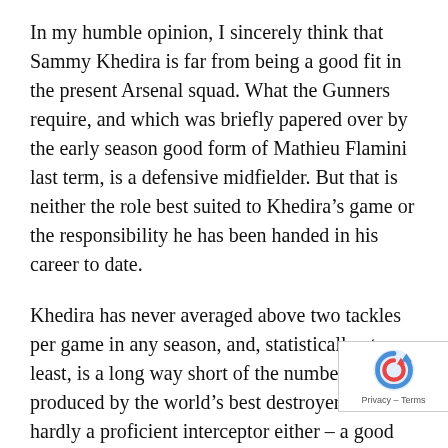In my humble opinion, I sincerely think that Sammy Khedira is far from being a good fit in the present Arsenal squad. What the Gunners require, and which was briefly papered over by the early season good form of Mathieu Flamini last term, is a defensive midfielder. But that is neither the role best suited to Khedira's game or the responsibility he has been handed in his career to date.
Khedira has never averaged above two tackles per game in any season, and, statistically at least, is a long way short of the numbers produced by the world's best destroyers. He is hardly a proficient interceptor either – a good indicator of a players' awareness and anticipation – and has ranked inside the division's top 100 for either tackles made or interceptions on just one occasion in career (in the 2012-13 season, where he placed 98th in La Liga for tackles per match). Moreover,